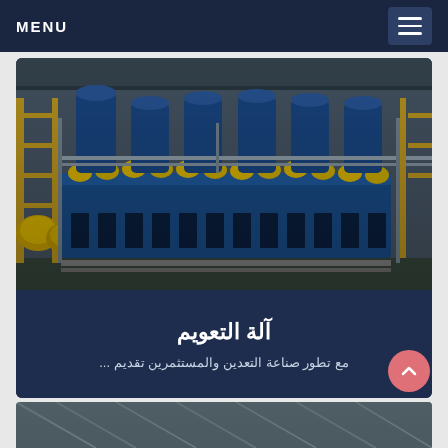MENU
[Figure (photo): Industrial flotation machine equipment with blue machinery bodies and yellow caps arranged in a row, with scaffolding and yellow structural supports in a mining facility]
آلة التعويم
مع تطور صناعة التعدين والمستثمرين تقديم ...
[Figure (photo): Partial view of industrial or architectural interior structure at the bottom of the page]